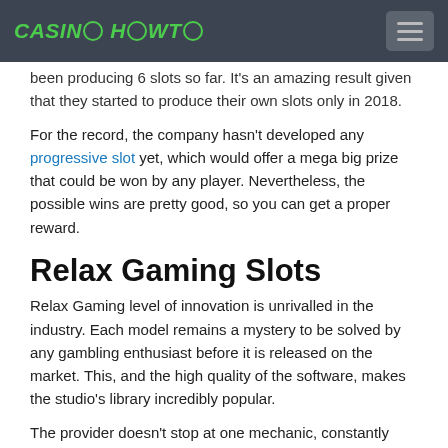CASINO HOWTO
been producing 6 slots so far. It's an amazing result given that they started to produce their own slots only in 2018.
For the record, the company hasn't developed any progressive slot yet, which would offer a mega big prize that could be won by any player. Nevertheless, the possible wins are pretty good, so you can get a proper reward.
Relax Gaming Slots
Relax Gaming level of innovation is unrivalled in the industry. Each model remains a mystery to be solved by any gambling enthusiast before it is released on the market. This, and the high quality of the software, makes the studio's library incredibly popular.
The provider doesn't stop at one mechanic, constantly pushing its limits. Its portfolio includes slots with 3, 4, 5, 6, and 7 reels. Only industry leaders have such diversity. While